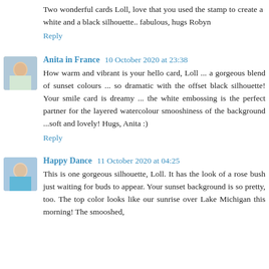Two wonderful cards Loll, love that you used the stamp to create a white and a black silhouette.. fabulous, hugs Robyn
Reply
Anita in France  10 October 2020 at 23:38
How warm and vibrant is your hello card, Loll ... a gorgeous blend of sunset colours ... so dramatic with the offset black silhouette! Your smile card is dreamy ... the white embossing is the perfect partner for the layered watercolour smooshiness of the background ...soft and lovely! Hugs, Anita :)
Reply
Happy Dance  11 October 2020 at 04:25
This is one gorgeous silhouette, Loll. It has the look of a rose bush just waiting for buds to appear. Your sunset background is so pretty, too. The top color looks like our sunrise over Lake Michigan this morning! The smooshed,